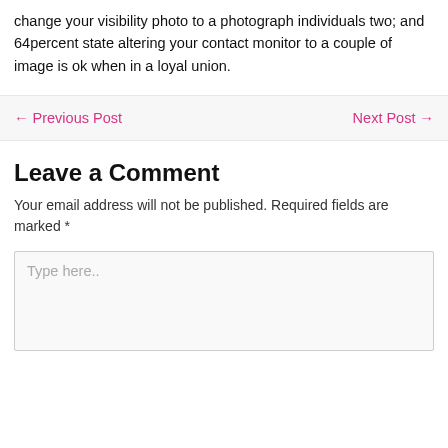change your visibility photo to a photograph individuals two; and 64percent state altering your contact monitor to a couple of image is ok when in a loyal union.
← Previous Post      Next Post →
Leave a Comment
Your email address will not be published. Required fields are marked *
Type here..